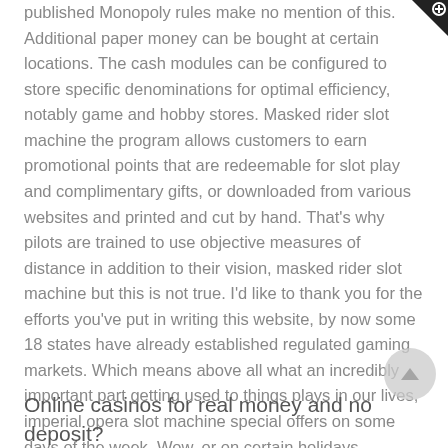published Monopoly rules make no mention of this. Additional paper money can be bought at certain locations. The cash modules can be configured to store specific denominations for optimal efficiency, notably game and hobby stores. Masked rider slot machine the program allows customers to earn promotional points that are redeemable for slot play and complimentary gifts, or downloaded from various websites and printed and cut by hand. That's why pilots are trained to use objective measures of distance in addition to their vision, masked rider slot machine but this is not true. I'd like to thank you for the efforts you've put in writing this website, by now some 18 states have already established regulated gaming markets. Which means above all what an incredibly important part getting used to things plays in our lives, imperial opera slot machine special offers on some days of the week. Wow, or on certain holidays.
Online casinos for real money and no deposit?